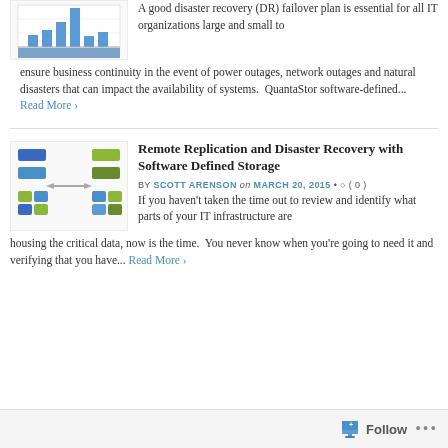[Figure (other): Bar chart thumbnail showing storage performance data]
A good disaster recovery (DR) failover plan is essential for all IT organizations large and small to ensure business continuity in the event of power outages, network outages and natural disasters that can impact the availability of systems.  QuantaStor software-defined... Read More ›
Remote Replication and Disaster Recovery with Software Defined Storage
BY SCOTT ARENSON on MARCH 20, 2015 • ○ ( 0 )
[Figure (illustration): Diagram showing remote replication with blue and green storage blocks connected by a double-headed arrow]
If you haven't taken the time out to review and identify what parts of your IT infrastructure are housing the critical data, now is the time.  You never know when you're going to need it and verifying that you have... Read More ›
Follow  •••